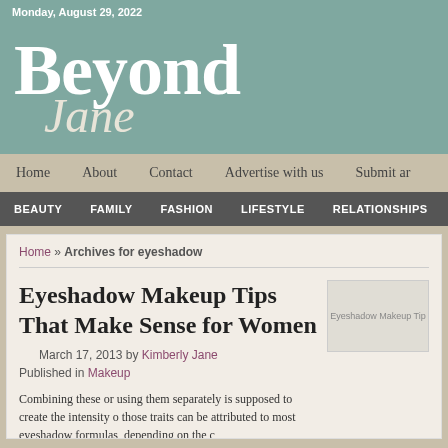Monday, August 29, 2022
[Figure (logo): Beyond Jane blog logo with teal background, large text 'Beyond' and cursive 'Jane']
Home   About   Contact   Advertise with us   Submit an
BEAUTY   FAMILY   FASHION   LIFESTYLE   RELATIONSHIPS   SH
Home » Archives for eyeshadow
Eyeshadow Makeup Tips That Make Sense for Women
[Figure (photo): Eyeshadow Makeup Tips image placeholder]
March 17, 2013 by Kimberly Jane
Published in Makeup
Combining these or using them separately is supposed to create the intensity o those traits can be attributed to most eyeshadow formulas, depending on the c